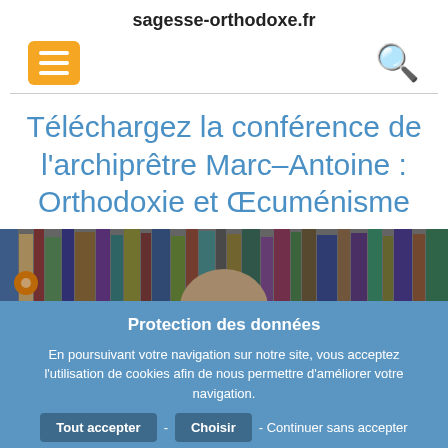sagesse-orthodoxe.fr
[Figure (screenshot): Navigation bar with orange hamburger menu icon on left and magnifying glass search icon on right]
Téléchargez la conférence de l'archiprêtre Marc–Antoine : Orthodoxie et Œcuménisme
[Figure (photo): Photo of a bookshelf with books and a person's head visible from the top]
Protection des données
En poursuivant votre navigation sur notre site, vous acceptez l'utilisation de cookies afin de nous permettre d'améliorer votre navigation.
Tout accepter - Choisir - Continuer sans accepter